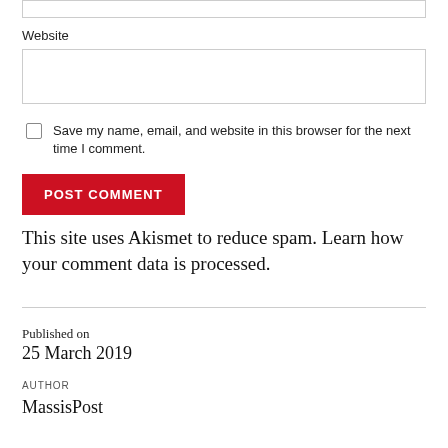Website
Save my name, email, and website in this browser for the next time I comment.
POST COMMENT
This site uses Akismet to reduce spam. Learn how your comment data is processed.
Published on
25 March 2019
AUTHOR
MassisPost